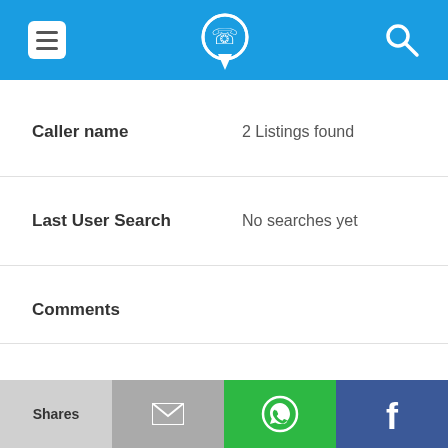App header bar with menu, phone/location logo, and search icon
| Field | Value |
| --- | --- |
| Caller name | 2 Listings found |
| Last User Search | No searches yet |
| Comments |  |
703-370-2607
| Field | Value |
| --- | --- |
| Alternate Form | 7033702607 |
| Caller name | 2 Listings found |
Shares | [mail icon] | [WhatsApp icon] | [Facebook icon]